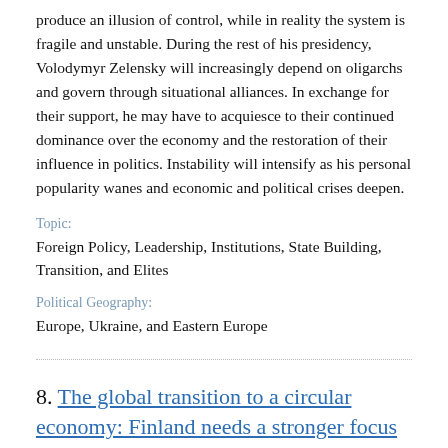produce an illusion of control, while in reality the system is fragile and unstable. During the rest of his presidency, Volodymyr Zelensky will increasingly depend on oligarchs and govern through situational alliances. In exchange for their support, he may have to acquiesce to their continued dominance over the economy and the restoration of their influence in politics. Instability will intensify as his personal popularity wanes and economic and political crises deepen.
Topic:
Foreign Policy, Leadership, Institutions, State Building, Transition, and Elites
Political Geography:
Europe, Ukraine, and Eastern Europe
8. The global transition to a circular economy: Finland needs a stronger focus on the foreign policy dimension to remain a